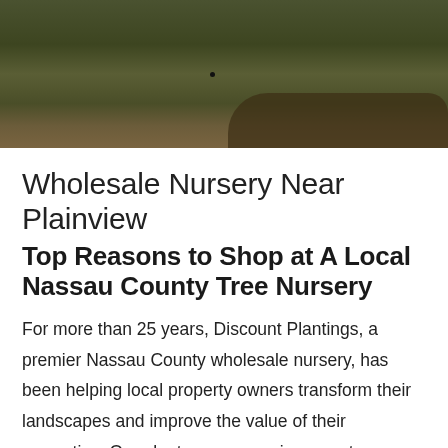[Figure (photo): Aerial or ground-level view of a grassy landscape with dark soil patches, likely a nursery or park area.]
Wholesale Nursery Near Plainview
Top Reasons to Shop at A Local Nassau County Tree Nursery
For more than 25 years, Discount Plantings, a premier Nassau County wholesale nursery, has been helping local property owners transform their landscapes and improve the value of their properties. Our plant nursery carries a vast